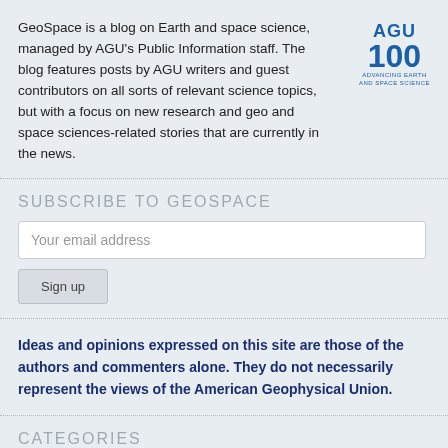GeoSpace is a blog on Earth and space science, managed by AGU's Public Information staff. The blog features posts by AGU writers and guest contributors on all sorts of relevant science topics, but with a focus on new research and geo and space sciences-related stories that are currently in the news.
[Figure (logo): AGU 100 Advancing Earth and Space Science logo in blue]
SUBSCRIBE TO GEOSPACE
Your email address
Sign up
Ideas and opinions expressed on this site are those of the authors and commenters alone. They do not necessarily represent the views of the American Geophysical Union.
CATEGORIES
Journal of Geophysical Research: Oceans  (16)